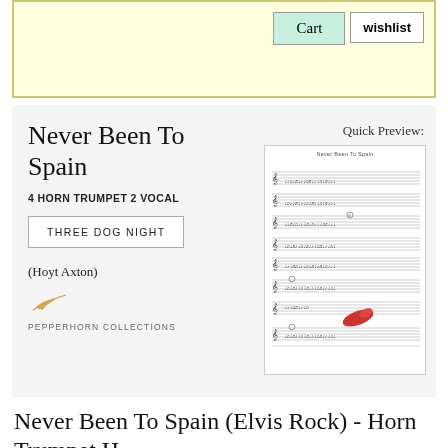Cart
wishlist
Never Been To Spain
4 HORN TRUMPET 2 VOCAL
THREE DOG NIGHT
(Hoyt Axton)
[Figure (illustration): Small feather/quill logo in golden/tan color]
PEPPERHORN COLLECTIONS
Quick Preview:
[Figure (illustration): Sheet music preview showing musical notation for Never Been To Spain with multiple stave lines and notes]
Never Been To Spain (Elvis Rock) - Horn Trumpet H...